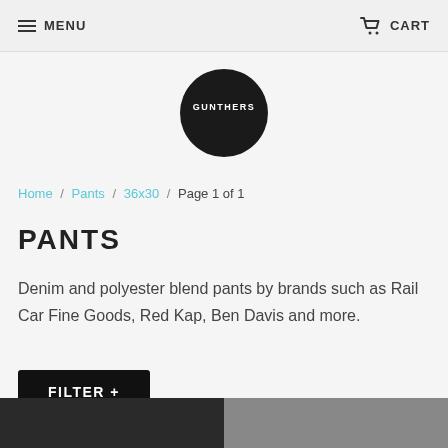MENU  CART
[Figure (logo): Gunthers circular logo — black circle with white text 'GUNTHERS' in bold font]
Home / Pants / 36x30 / Page 1 of 1
PANTS
Denim and polyester blend pants by brands such as Rail Car Fine Goods, Red Kap, Ben Davis and more.
FILTER +
[Figure (photo): Two partial product images at bottom: dark pants on left, lighter pants on right]